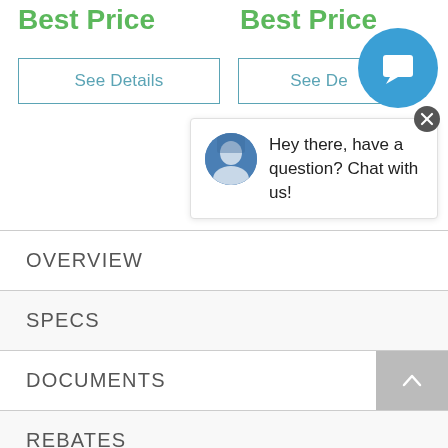Best Price
Best Price
See Details
See De...
[Figure (illustration): Blue circular chat button with speech bubble icon]
[Figure (screenshot): Chat popup with avatar photo and text: Hey there, have a question? Chat with us!]
Hey there, have a question? Chat with us!
OVERVIEW
SPECS
DOCUMENTS
REBATES
VIDEOS
DELIVERY